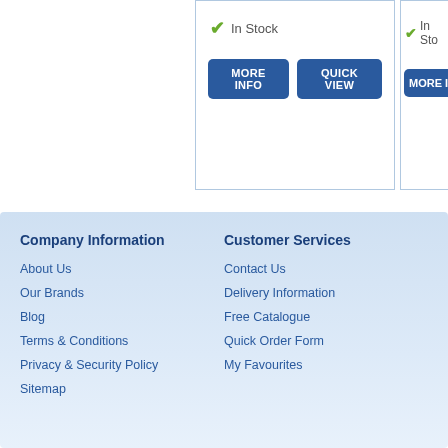In Stock
MORE INFO | QUICK VIEW
In Sto
MORE IN
Company Information
About Us
Our Brands
Blog
Terms & Conditions
Privacy & Security Policy
Sitemap
Customer Services
Contact Us
Delivery Information
Free Catalogue
Quick Order Form
My Favourites